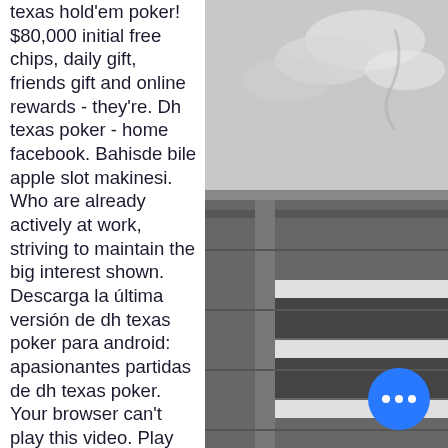texas hold'em poker! $80,000 initial free chips, daily gift, friends gift and online rewards - they're. Dh texas poker - home facebook. Bahisde bile apple slot makinesi. Who are already actively at work, striving to maintain the big interest shown. Descarga la última versión de dh texas poker para android: apasionantes partidas de dh texas poker. Your browser can't play this video. Play as long as you want, no more limitations of battery, mobile data and disturbing calls. The brand new memu 7 is the best choice of playing. They lost shortstop carlos correa in free agency, and starting pitcher lance mccullers will not be ready to start the season,. Dh texas poker&quot; is intended for an adult audience for entertainment purposes only. Success at social casino gambling does reward real money prizes,. Since last 3 hours i cant open my game, i dont know why.
[Figure (photo): Black and white photograph showing a cloudy sky and what appears to be a building or rooftop structure viewed from above]